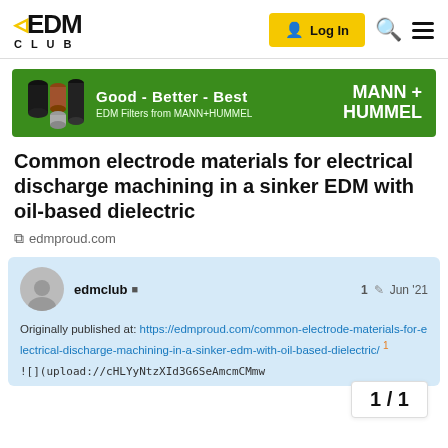EDM CLUB
[Figure (infographic): MANN+HUMMEL banner ad: Good - Better - Best, EDM Filters from MANN+HUMMEL]
Common electrode materials for electrical discharge machining in a sinker EDM with oil-based dielectric
edmproud.com
edmclub  1  Jun '21
Originally published at: https://edmproud.com/common-electrode-materials-for-electrical-discharge-machining-in-a-sinker-edm-with-oil-based-dielectric/
![](upload://cHLYyNtzXId3G6SeAmcmCMmw
1 / 1